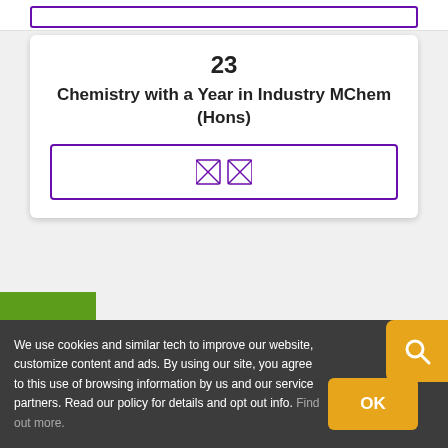23
Chemistry with a Year in Industry MChem (Hons)
[Figure (other): Input box with two flag/checkbox icons inside a purple border]
[Figure (other): Green sidebar panel with WeChat icon]
[Figure (other): Red sidebar panel with icon]
[Figure (other): Yellow search button top right]
We use cookies and similar tech to improve our website, customize content and ads. By using our site, you agree to this use of browsing information by us and our service partners. Read our policy for details and opt out info. Find out more.
OK